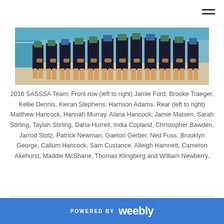[Figure (photo): Group photo of the 2016 SASSSA swimming team standing by a pool, wearing teal/blue uniforms, heads not visible, cropped at torso level.]
2016 SASSSA Team: Front row (left to right) Jamie Ford, Brooke Traeger, Kellie Dennis, Kieran Stephens, Harrison Adams. Rear (left to right) Matthew Hancock, Hannah Murray, Alana Hancock, Jamie Matsen, Sarah Stirling, Taylah Stirling, Dana Hurrell, India Copland, Christopher Bawden, Jarrod Stolz, Patrick Newman, Gaeton Gerber, Ned Fuss, Brooklyn George, Callum Hancock, Sam Custance, Alleigh Hamnett, Cameron Akehurst, Maddie McShane, Thomas Klingberg and William Newberry.
POWERED BY weebly